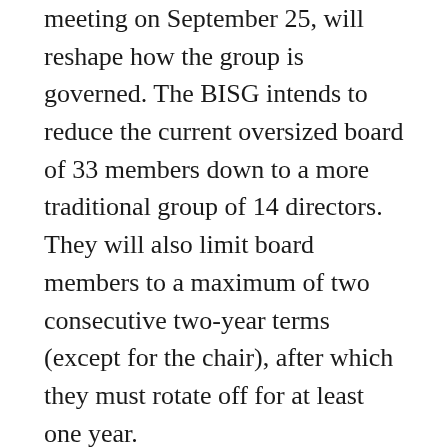meeting on September 25, will reshape how the group is governed. The BISG intends to reduce the current oversized board of 33 members down to a more traditional group of 14 directors. They will also limit board members to a maximum of two consecutive two-year terms (except for the chair), after which they must rotate off for at least one year.
The new board slots will be allocated specifically among distinct industry sectors, with 5 positions for publishers (including two from from trade, and one professional/education publisher), 3 for industry service partners, 2 for distributors 2 for retailers, 1 for libraries, and 1 for suppliers/manufacturers. All committee